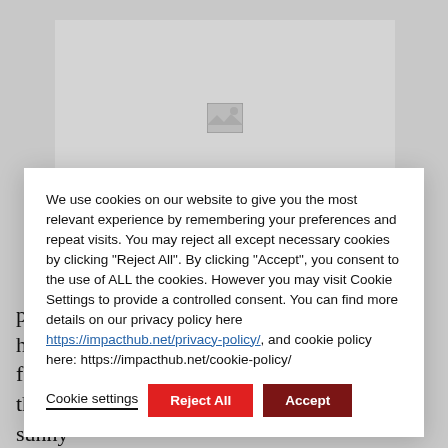[Figure (screenshot): Webpage background with gray image placeholder area]
We use cookies on our website to give you the most relevant experience by remembering your preferences and repeat visits. You may reject all except necessary cookies by clicking "Reject All". By clicking “Accept”, you consent to the use of ALL the cookies. However you may visit Cookie Settings to provide a controlled consent. You can find more details on our privacy policy here https://impacthub.net/privacy-policy/, and cookie policy here: https://impacthub.net/cookie-policy/
Cookie settings | Reject All | Accept
place in Montreal and Ottawa, this year we’re headed to the Southern hemisphere to bring forth the diversity of our network, down to Brazil’s sunny Fl...